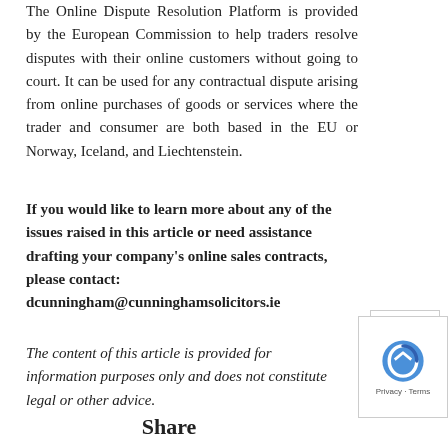The Online Dispute Resolution Platform is provided by the European Commission to help traders resolve disputes with their online customers without going to court. It can be used for any contractual dispute arising from online purchases of goods or services where the trader and consumer are both based in the EU or Norway, Iceland, and Liechtenstein.
If you would like to learn more about any of the issues raised in this article or need assistance drafting your company's online sales contracts, please contact: dcunningham@cunninghamsolicitors.ie
The content of this article is provided for information purposes only and does not constitute legal or other advice.
Share